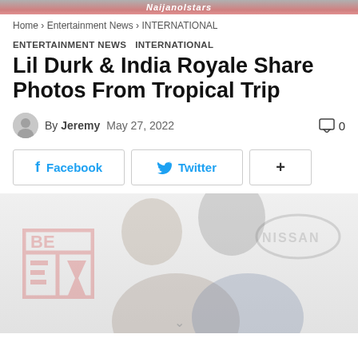Naijanolstars
Home › Entertainment News › INTERNATIONAL
ENTERTAINMENT NEWS  INTERNATIONAL
Lil Durk & India Royale Share Photos From Tropical Trip
By Jeremy  May 27, 2022  0
[Figure (screenshot): Social share buttons: Facebook, Twitter, and a plus button]
[Figure (photo): Photo of Lil Durk and India Royale with BET and Nissan watermarks visible]